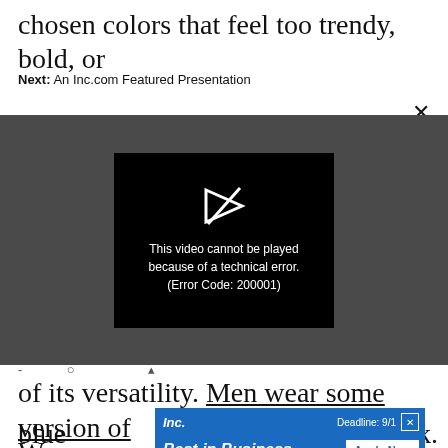chosen colors that feel too trendy, bold, or
Next: An Inc.com Featured Presentation
[Figure (screenshot): Video player with error message: 'This video cannot be played because of a technical error. (Error Code: 200001)' shown on a dark gray background with a black error dialog and a broken play icon.]
of its versatility. Men wear some version of
blue
[Figure (other): Inc. Best in Business advertisement banner with 'Deadline: 9/1' close button and 'Apply Now' button]
k.
Wo